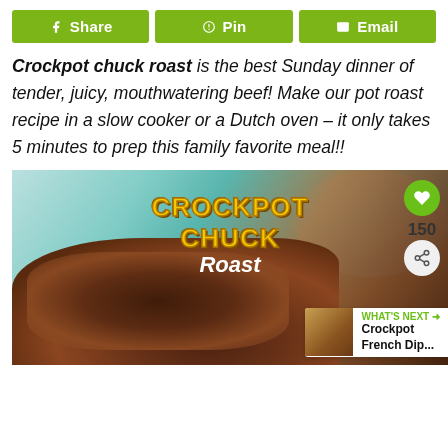[Figure (infographic): Social share buttons: Share (Facebook), Pin (Pinterest), Email]
Crockpot chuck roast is the best Sunday dinner of tender, juicy, mouthwatering beef! Make our pot roast recipe in a slow cooker or a Dutch oven – it only takes 5 minutes to prep this family favorite meal!!
[Figure (photo): Photo of crockpot chuck roast on a blue plate with overlay text 'CROCKPOT CHUCK Roast' in yellow, with heart/share buttons and a 150 count, and a 'WHAT'S NEXT' banner showing Crockpot French Dip...]